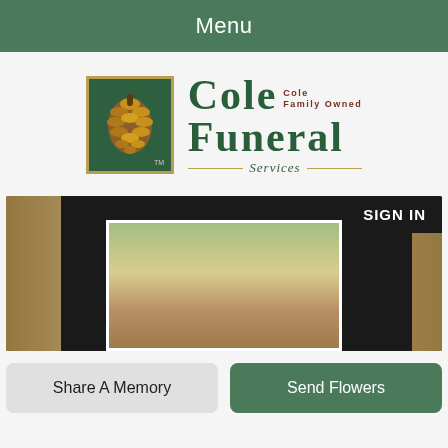Menu
[Figure (logo): Cole Funeral Services logo with pine cone badge and green text]
[Figure (screenshot): Website screenshot showing SIGN IN button and blurred background photo of a person outdoors]
Share A Memory
Send Flowers